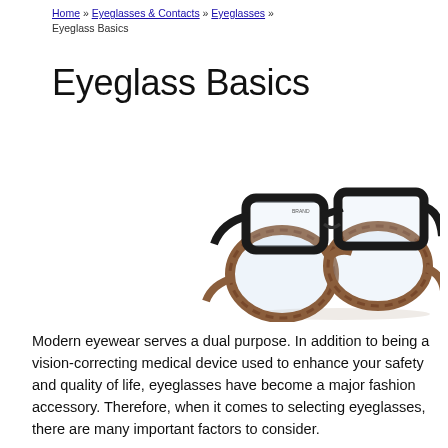Home » Eyeglasses & Contacts » Eyeglasses » Eyeglass Basics
Eyeglass Basics
[Figure (photo): Two pairs of eyeglasses stacked on each other — one black frame on top, one tortoiseshell/brown frame below — photographed against a white background.]
Modern eyewear serves a dual purpose. In addition to being a vision-correcting medical device used to enhance your safety and quality of life, eyeglasses have become a major fashion accessory. Therefore, when it comes to selecting eyeglasses, there are many important factors to consider.